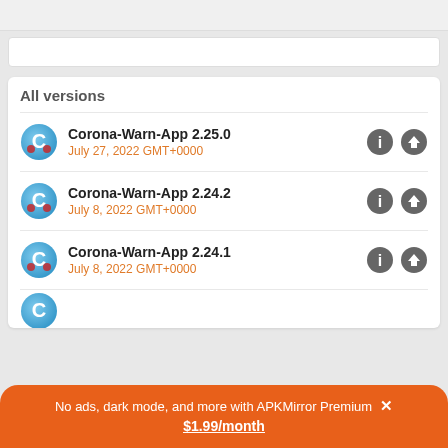All versions
Corona-Warn-App 2.25.0
July 27, 2022 GMT+0000
Corona-Warn-App 2.24.2
July 8, 2022 GMT+0000
Corona-Warn-App 2.24.1
July 8, 2022 GMT+0000
No ads, dark mode, and more with APKMirror Premium × $1.99/month